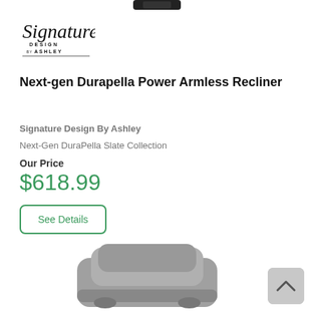[Figure (logo): Signature Design by Ashley script logo in black]
Next-gen Durapella Power Armless Recliner
Signature Design By Ashley
Next-Gen DuraPella Slate Collection
Our Price
$618.99
See Details
[Figure (photo): Gray upholstered recliner chair, partially visible at bottom of page]
[Figure (other): Scroll-to-top button, gray rounded square with upward chevron]